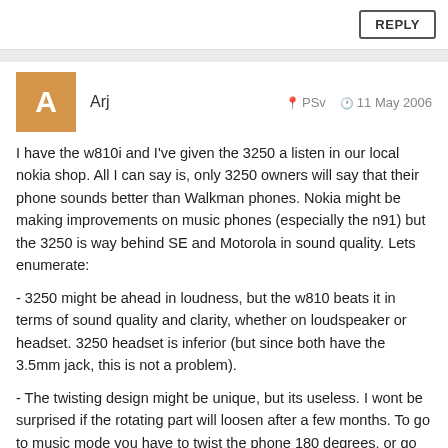REPLY
Arj   PSv   11 May 2006
I have the w810i and I've given the 3250 a listen in our local nokia shop. All I can say is, only 3250 owners will say that their phone sounds better than Walkman phones. Nokia might be making improvements on music phones (especially the n91) but the 3250 is way behind SE and Motorola in sound quality. Lets enumerate:
- 3250 might be ahead in loudness, but the w810 beats it in terms of sound quality and clarity, whether on loudspeaker or headset. 3250 headset is inferior (but since both have the 3.5mm jack, this is not a problem).
- The twisting design might be unique, but its useless. I wont be surprised if the rotating part will loosen after a few months. To go to music mode you have to twist the phone 180 degrees, or go through the menu. Whereas in walkman phones, its just a press of a button. What if you have to text while listening? You have to twist it back